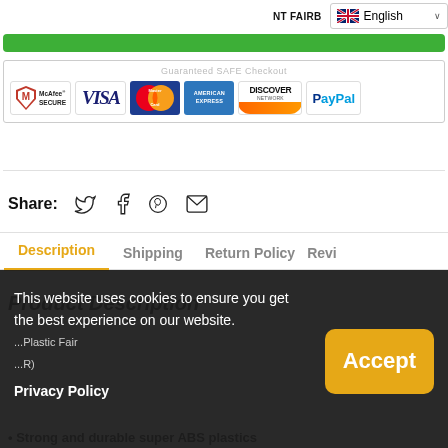[Figure (screenshot): Language selector dropdown showing UK flag and 'English' with chevron]
[Figure (screenshot): Green checkout button bar]
[Figure (screenshot): Guaranteed SAFE Checkout section with payment logos: McAfee SECURE, VISA, MasterCard, American Express, Discover Network, PayPal]
Share:
[Figure (screenshot): Social share icons: Twitter, Facebook, Pinterest, Email]
Description	Shipping	Return Policy	Revi
Product Description
This website uses cookies to ensure you get the best experience on our website.
Privacy Policy
Strong and durable super ABS plastics